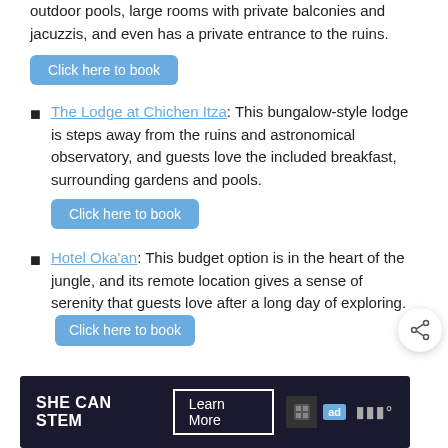outdoor pools, large rooms with private balconies and jacuzzis, and even has a private entrance to the ruins.
Click here to book
The Lodge at Chichen Itza: This bungalow-style lodge is steps away from the ruins and astronomical observatory, and guests love the included breakfast, surrounding gardens and pools.
Click here to book
Hotel Oka'an: This budget option is in the heart of the jungle, and its remote location gives a sense of serenity that guests love after a long day of exploring. Click here to book
[Figure (other): Share button icon (circle with share symbol)]
[Figure (other): Advertisement banner: SHE CAN STEM with Learn More button, ad badge, and moat logo]